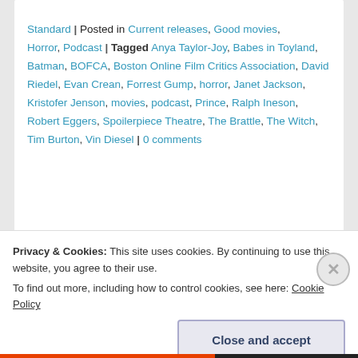Standard | Posted in Current releases, Good movies, Horror, Podcast | Tagged Anya Taylor-Joy, Babes in Toyland, Batman, BOFCA, Boston Online Film Critics Association, David Riedel, Evan Crean, Forrest Gump, horror, Janet Jackson, Kristofer Jenson, movies, podcast, Prince, Ralph Ineson, Robert Eggers, Spoilerpiece Theatre, The Brattle, The Witch, Tim Burton, Vin Diesel | 0 comments
Privacy & Cookies: This site uses cookies. By continuing to use this website, you agree to their use. To find out more, including how to control cookies, see here: Cookie Policy
Close and accept